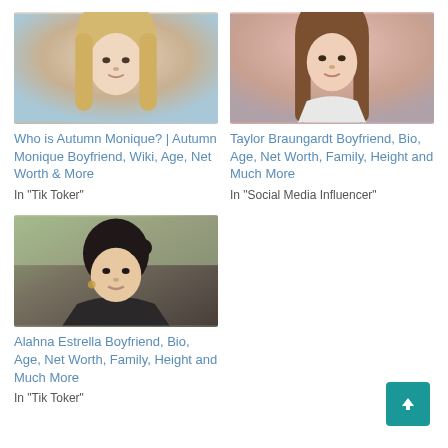[Figure (photo): Young woman with long blonde hair, closeup selfie shot]
Who is Autumn Monique? | Autumn Monique Boyfriend, Wiki, Age, Net Worth & More
In "Tik Toker"
[Figure (photo): Young woman with long straight brown hair, light pink background]
Taylor Braungardt Boyfriend, Bio, Age, Net Worth, Family, Height and Much More
In "Social Media Influencer"
[Figure (photo): Young woman with dark hair pulled back, sitting outdoors near a car, wearing a dark top]
Alahna Estrella Boyfriend, Bio, Age, Net Worth, Family, Height and Much More
In "Tik Toker"